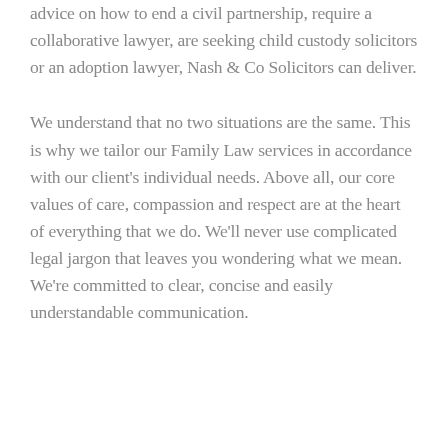advice on how to end a civil partnership, require a collaborative lawyer, are seeking child custody solicitors or an adoption lawyer, Nash & Co Solicitors can deliver.
We understand that no two situations are the same. This is why we tailor our Family Law services in accordance with our client's individual needs. Above all, our core values of care, compassion and respect are at the heart of everything that we do. We'll never use complicated legal jargon that leaves you wondering what we mean. We're committed to clear, concise and easily understandable communication.